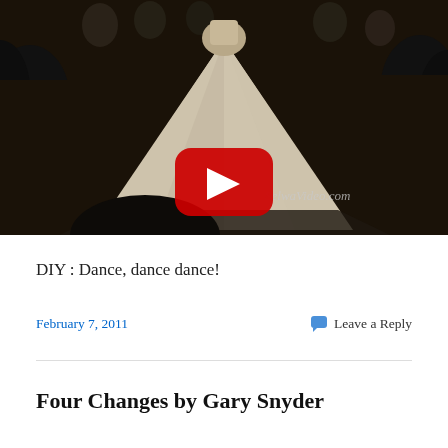[Figure (screenshot): YouTube video thumbnail showing a dancer in a white dress on a dark dance floor with audience around, with a YouTube play button overlay and 'SelwaVideo.com' watermark in the bottom right]
DIY : Dance, dance dance!
February 7, 2011
Leave a Reply
Four Changes by Gary Snyder